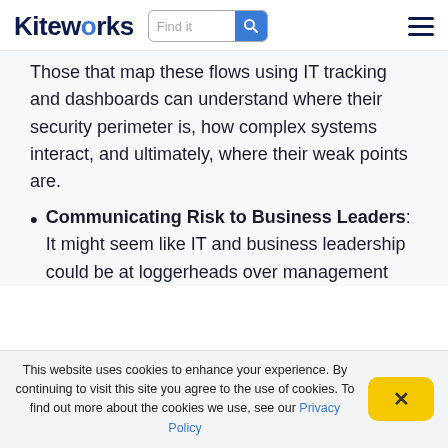Kiteworks — Find it [search] [hamburger menu]
Those that map these flows using IT tracking and dashboards can understand where their security perimeter is, how complex systems interact, and ultimately, where their weak points are.
Communicating Risk to Business Leaders: It might seem like IT and business leadership could be at loggerheads over management
This website uses cookies to enhance your experience. By continuing to visit this site you agree to the use of cookies. To find out more about the cookies we use, see our Privacy Policy